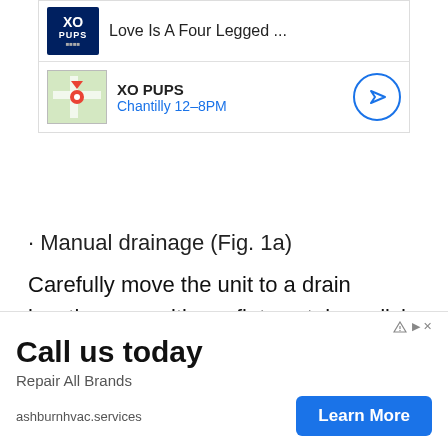[Figure (screenshot): Advertisement for XO PUPS pet business showing logo with 'Love Is A Four Legged ...' text and a map view showing XO PUPS location in Chantilly 12-8PM with a navigation button]
· Manual drainage (Fig. 1a)
Carefully move the unit to a drain location or position a flat container, dish or optional drain bucket accessory (sold separately) under the drain area of the lower drain port. R- emove the bottom drain plug and let the
[Figure (screenshot): Advertisement banner saying 'Call us today' for Repair All Brands, ashburnhvac.services with a Learn More button]